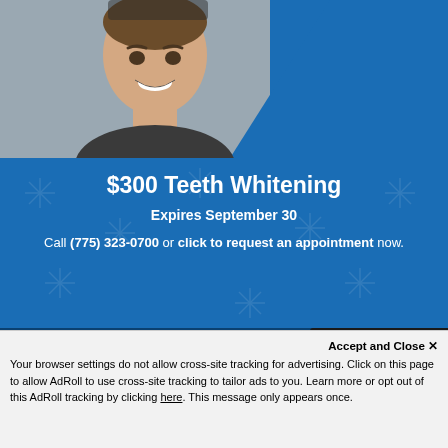[Figure (photo): Man smiling with teeth showing, wearing dark gray shirt, against gray and blue background]
$300 Teeth Whitening
Expires September 30
Call (775) 323-0700 or click to request an appointment now.
CONTACT US
First Name
[Figure (other): Chat button with person icon and text CHAT]
Accept and Close ✕
Your browser settings do not allow cross-site tracking for advertising. Click on this page to allow AdRoll to use cross-site tracking to tailor ads to you. Learn more or opt out of this AdRoll tracking by clicking here. This message only appears once.